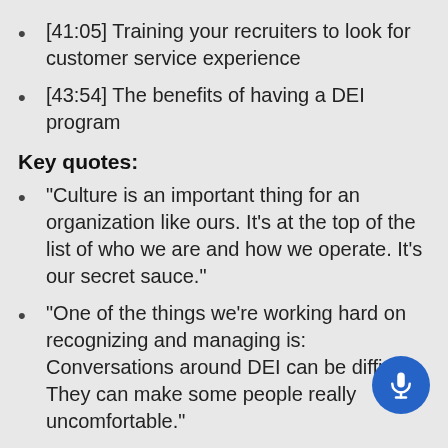[41:05] Training your recruiters to look for customer service experience
[43:54] The benefits of having a DEI program
Key quotes:
“Culture is an important thing for an organization like ours. It’s at the top of the list of who we are and how we operate. It’s our secret sauce.”
“One of the things we’re working hard on recognizing and managing is: Conversations around DEI can be difficult. They can make some people really uncomfortable.”